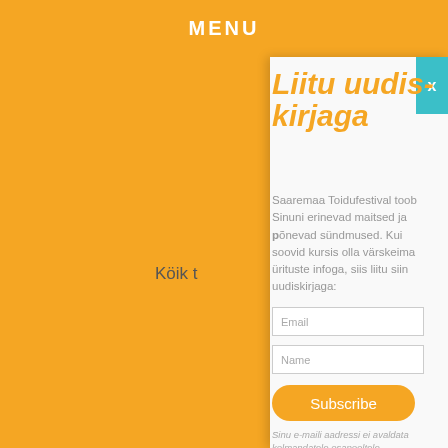MENU
Köik t
Liitu uudiskirjaga
Saaremaa Toidufestival toob Sinuni erinevad maitsed ja põnevad sündmused. Kui soovid kursis olla värskeima ürituste infoga, siis liitu siin uudiskirjaga:
Email
Name
Subscribe
Sinu e-maili aadressi ei avaldata kolmandatele osapooltele